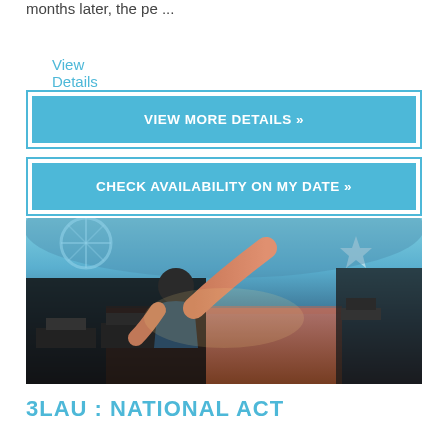months later, the pe ...
View Details
VIEW MORE DETAILS »
CHECK AVAILABILITY ON MY DATE »
[Figure (photo): DJ performing on stage viewed from behind, raising one arm, with large festival crowd in background under tent/dome venue]
3LAU : NATIONAL ACT